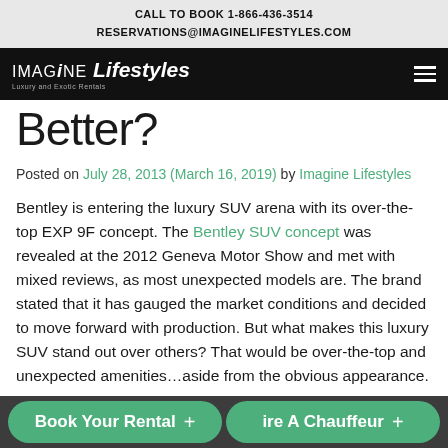CALL TO BOOK 1-866-436-3514
RESERVATIONS@IMAGINELIFESTYLES.COM
[Figure (logo): Imagine Lifestyles logo with navigation hamburger menu on black bar]
Better?
Posted on July 28, 2013 (March 16, 2019) by Imagine Lifestyles
Bentley is entering the luxury SUV arena with its over-the-top EXP 9F concept. The Bentley SUV concept was revealed at the 2012 Geneva Motor Show and met with mixed reviews, as most unexpected models are. The brand stated that it has gauged the market conditions and decided to move forward with production. But what makes this luxury SUV stand out over others? That would be over-the-top and unexpected amenities…aside from the obvious appearance.
[Figure (screenshot): Green CTA buttons: Book Your Rental + and ire A Chauffeur +]